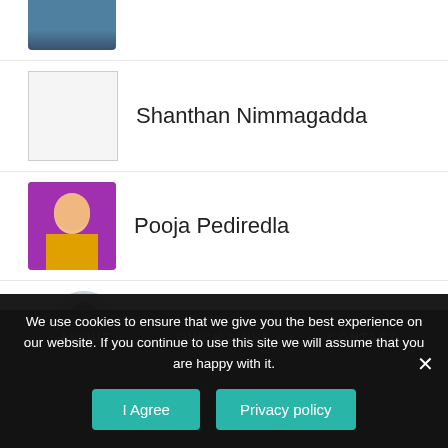[Figure (photo): Partial photo of a person at top of page]
Shanthan Nimmagadda
Pooja Pediredla
Sai Gangadhar Devupalli
ABOUT   QUICK LINKS   CONTACT
We use cookies to ensure that we give you the best experience on our website. If you continue to use this site we will assume that you are happy with it.